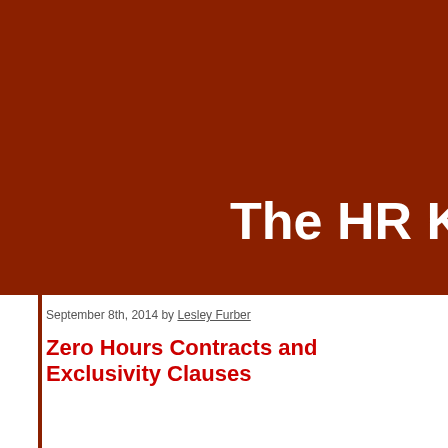The HR Ki
September 8th, 2014 by Lesley Furber
Zero Hours Contracts and Exclusivity Clauses